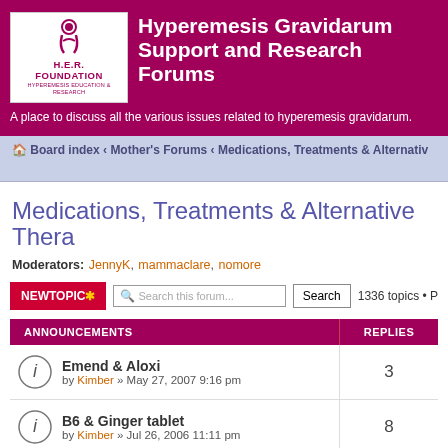[Figure (logo): H.E.R. Foundation logo with stylized figure and text 'HYPEREMESIS EDUCATION & RESEARCH']
Hyperemesis Gravidarum Support and Research Forums
A place to discuss all the various issues related to hyperemesis gravidarum.
Board index ‹ Mother's Forums ‹ Medications, Treatments & Alternativ
Medications, Treatments & Alternative Thera
Moderators: JennyK, mammaclare, nomore
NEWTOPIC* | Search this forum... | Search | 1336 topics • P
| ANNOUNCEMENTS | REPLIES |
| --- | --- |
| Emend & Aloxi
by Kimber » May 27, 2007 9:16 pm | 3 |
| B6 & Ginger tablet
by Kimber » Jul 26, 2006 11:11 pm | 8 |